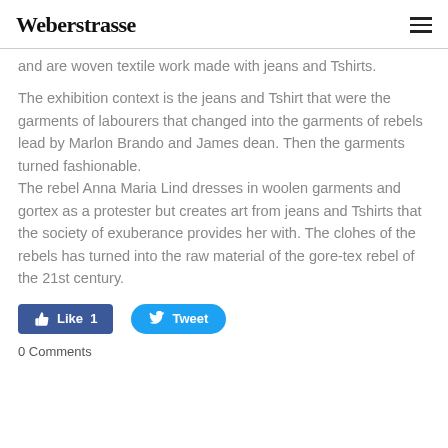Weberstrasse
and are woven textile work made with jeans and Tshirts.
The exhibition context is the jeans and Tshirt that were the garments of labourers that changed into the garments of rebels lead by Marlon Brando and James dean. Then the garments turned fashionable.
The rebel Anna Maria Lind dresses in woolen garments and gortex as a protester but creates art from jeans and Tshirts that the society of exuberance provides her with. The clohes of the rebels has turned into the raw material of the gore-tex rebel of the 21st century.
[Figure (other): Facebook Like button with count 1 and Twitter Tweet button]
0 Comments